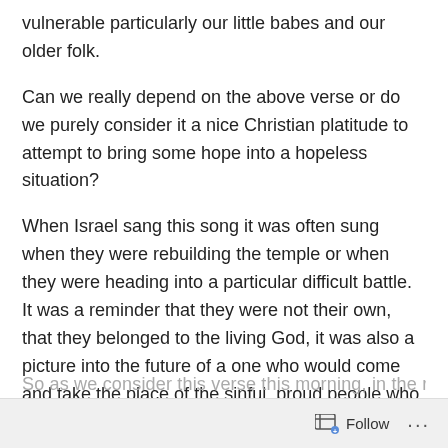vulnerable particularly our little babes and our older folk.
Can we really depend on the above verse or do we purely consider it a nice Christian platitude to attempt to bring some hope into a hopeless situation?
When Israel sang this song it was often sung when they were rebuilding the temple or when they were heading into a particular difficult battle. It was a reminder that they were not their own, that they belonged to the living God, it was also a picture into the future of a one who would come and take the place of the sinful, proud people who could do no right on their own.
So as we consider this verse this morning, in the reality…
Follow …